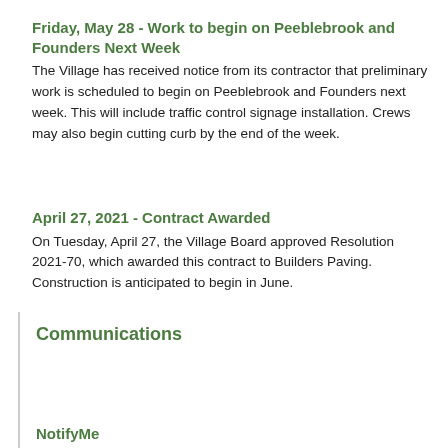Friday, May 28 - Work to begin on Peeblebrook and Founders Next Week
The Village has received notice from its contractor that preliminary work is scheduled to begin on Peeblebrook and Founders next week. This will include traffic control signage installation. Crews may also begin cutting curb by the end of the week.
April 27, 2021 - Contract Awarded
On Tuesday, April 27, the Village Board approved Resolution 2021-70, which awarded this contract to Builders Paving. Construction is anticipated to begin in June.
Communications
NotifyMe